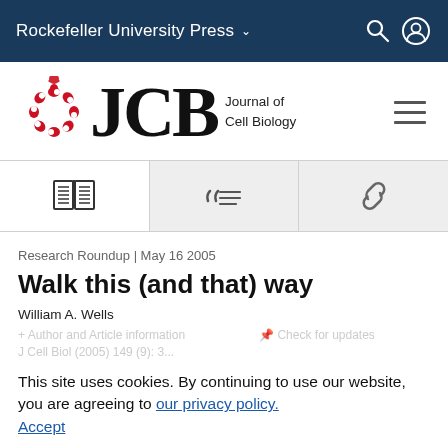Rockefeller University Press
[Figure (logo): JCB Journal of Cell Biology logo with red circular icon and large serif JCB letters]
[Figure (infographic): Three navigation tabs: book/read icon, citation/format icon, and link/share icon]
Research Roundup | May 16 2005
Walk this (and that) way
William A. Wells
This site uses cookies. By continuing to use our website, you are agreeing to our privacy policy. Accept